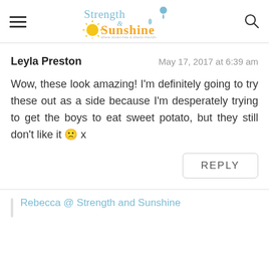Strength & Sunshine — website logo header with hamburger menu and search icon
Leyla Preston    May 17, 2017 at 6:39 am
Wow, these look amazing! I'm definitely going to try these out as a side because I'm desperately trying to get the boys to eat sweet potato, but they still don't like it 🙁 x
REPLY
Rebecca @ Strength and Sunshine